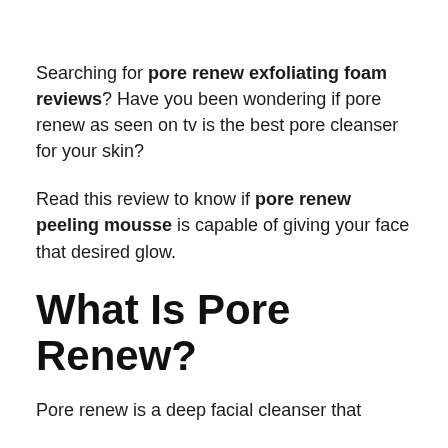Searching for pore renew exfoliating foam reviews? Have you been wondering if pore renew as seen on tv is the best pore cleanser for your skin?
Read this review to know if pore renew peeling mousse is capable of giving your face that desired glow.
What Is Pore Renew?
Pore renew is a deep facial cleanser that